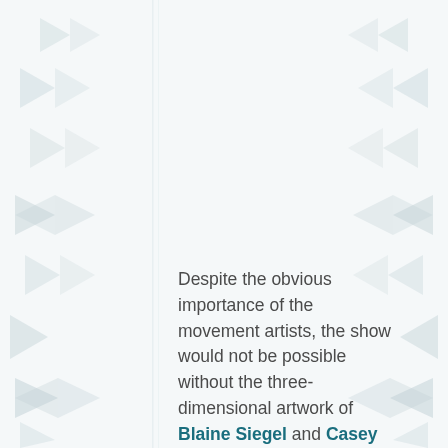[Figure (illustration): Decorative background pattern with light gray geometric triangle/arrow shapes arranged along the left and right margins of the page, creating a repeating motif of pointing triangles and diamond shapes.]
Despite the obvious importance of the movement artists, the show would not be possible without the three-dimensional artwork of Blaine Siegel and Casey